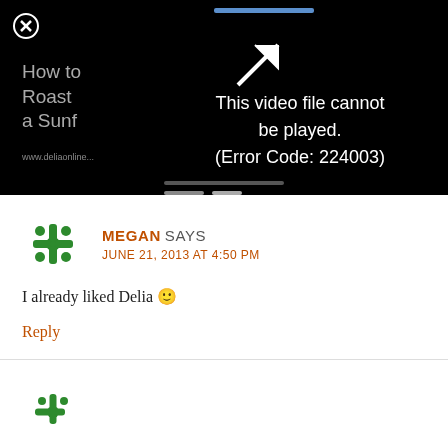[Figure (screenshot): Video player showing error message: 'This video file cannot be played. (Error Code: 224003)' on black background with video thumbnail text 'How to Roast a Sunf' and website URL visible]
MEGAN SAYS
JUNE 21, 2013 AT 4:50 PM
I already liked Delia 🙂
Reply